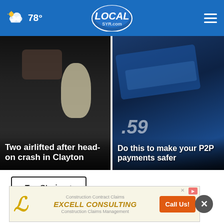78° LOCALsyr.com
[Figure (photo): Night scene of a crashed/burned car on a road with a person standing under bright lights, headline overlay: Two airlifted after head-on crash in Clayton]
[Figure (photo): Close-up of a credit/debit card being held near an app on a mobile device, blue-toned, headline overlay: Do this to make your P2P payments safer]
Top Stories ›
[Figure (screenshot): Advertisement banner for Excell Consulting - Construction Contract Claims and Construction Claims Management with Call Us! CTA button]